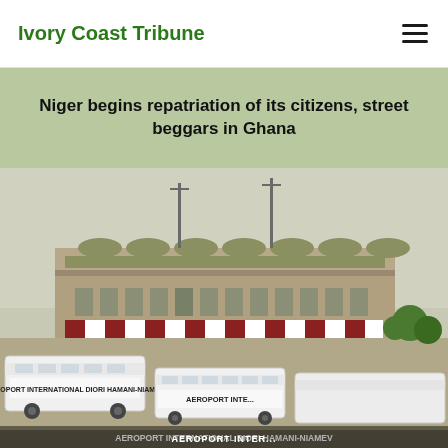Ivory Coast Tribune
Niger begins repatriation of its citizens, street beggars in Ghana
[Figure (photo): Airport building with signage reading AEROPORT INTERNATIONAL DIORI HAMANI-NIAMEY, with white buses in the foreground and a multi-story terminal building with antenna towers in the background.]